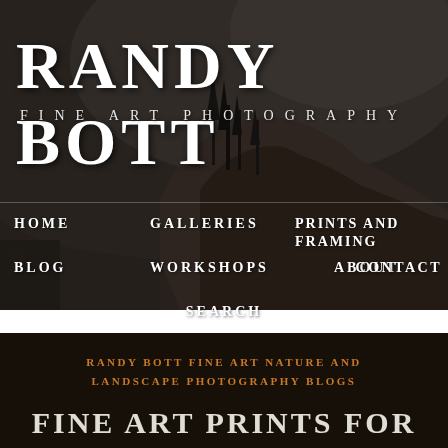[Figure (photo): Black and white landscape photograph of a dramatic rocky coastal headland with tall evergreen trees silhouetted against a dark sky, with ocean waves visible]
RANDY BOTT
FINE ART PHOTOGRAPHY
HOME
GALLERIES
PRINTS AND FRAMING
BLOG
WORKSHOPS
ABOUT
CONTACT
SEARCH
RANDY BOTT FINE ART NATURE AND LANDSCAPE PHOTOGRAPHY BLOGS
FINE ART PRINTS FOR HOLIDAY